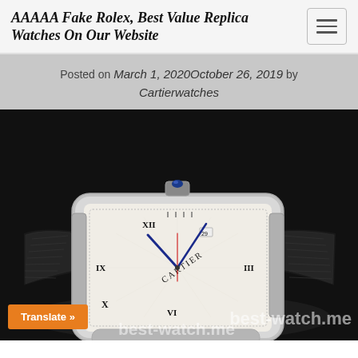AAAAA Fake Rolex, Best Value Replica Watches On Our Website
Posted on March 1, 2020October 26, 2019 by Cartierwatches
[Figure (photo): Close-up photo of a Cartier Tank watch with white dial, Roman numerals, blue hands, and black leather strap on a dark background. Text 'best-watch.me' watermark visible at bottom right.]
Translate »